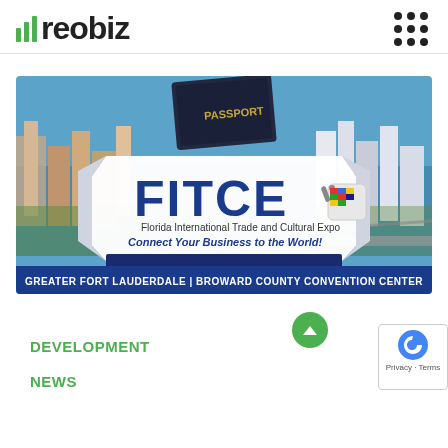reobiz
[Figure (illustration): FITCE - Florida International Trade and Cultural Expo promotional banner. Shows aerial photo of Fort Lauderdale waterfront cityscape as background. Center has white ribbon banner with 'FITCE' in large blue bold letters with a colorful flags tag icon. Below reads 'Florida International Trade and Cultural Expo'. Below that in italic blue text: 'Connect Your Business to the World!'. Below that in white text on dark blue: 'November 17-18, 2021'. A dark passport booklet appears at the top center. Bottom blue bar reads 'GREATER FORT LAUDERDALE | BROWARD COUNTY CONVENTION CENTER' in white bold text.]
DEVELOPMENT
NEWS